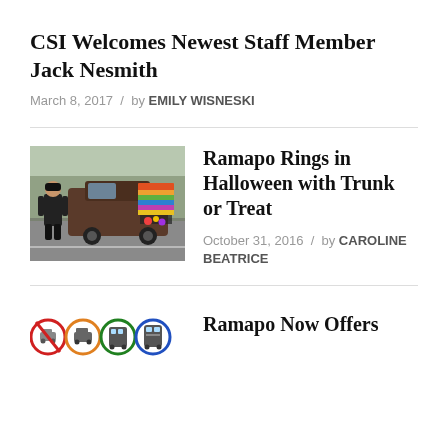CSI Welcomes Newest Staff Member Jack Nesmith
March 8, 2017 / by EMILY WISNESKI
[Figure (photo): A person standing beside a car with open trunk decorated with a colorful crocheted blanket and Halloween items, parked in a lot outdoors.]
Ramapo Rings in Halloween with Trunk or Treat
October 31, 2016 / by CAROLINE BEATRICE
[Figure (illustration): Four circular transportation icons in red, orange, green, and blue showing a no-car, car, bus, and train symbol respectively.]
Ramapo Now Offers